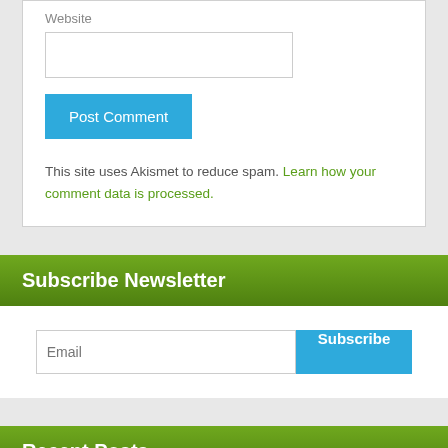Website
[Figure (screenshot): Empty website URL text input field]
[Figure (screenshot): Blue 'Post Comment' button]
This site uses Akismet to reduce spam. Learn how your comment data is processed.
Subscribe Newsletter
[Figure (screenshot): Email input field with placeholder text 'Email' and a blue 'Subscribe' button]
Recent Posts